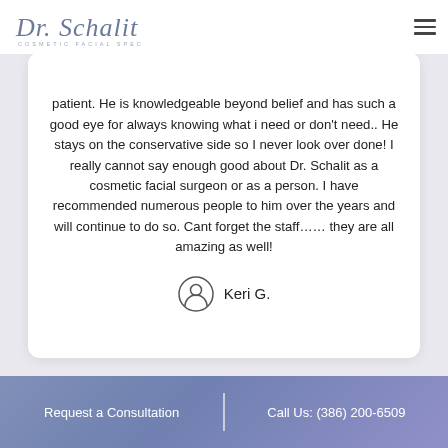[Figure (logo): Dr. Schalit Cosmetic Facial Specialist logo with cursive script and subtitle]
patient. He is knowledgeable beyond belief and has such a good eye for always knowing what i need or don't need.. He stays on the conservative side so I never look over done! I really cannot say enough good about Dr. Schalit as a cosmetic facial surgeon or as a person. I have recommended numerous people to him over the years and will continue to do so. Cant forget the staff…… they are all amazing as well!
Keri G.
Request a Consultation | Call Us: (386) 200-6509